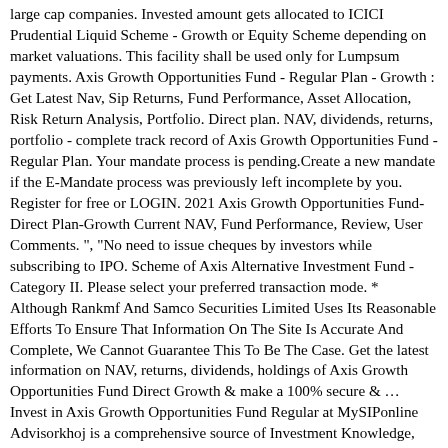large cap companies. Invested amount gets allocated to ICICI Prudential Liquid Scheme - Growth or Equity Scheme depending on market valuations. This facility shall be used only for Lumpsum payments. Axis Growth Opportunities Fund - Regular Plan - Growth : Get Latest Nav, Sip Returns, Fund Performance, Asset Allocation, Risk Return Analysis, Portfolio. Direct plan. NAV, dividends, returns, portfolio - complete track record of Axis Growth Opportunities Fund - Regular Plan. Your mandate process is pending.Create a new mandate if the E-Mandate process was previously left incomplete by you. Register for free or LOGIN. 2021 Axis Growth Opportunities Fund-Direct Plan-Growth Current NAV, Fund Performance, Review, User Comments. ", "No need to issue cheques by investors while subscribing to IPO. Scheme of Axis Alternative Investment Fund - Category II. Please select your preferred transaction mode. * Although Rankmf And Samco Securities Limited Uses Its Reasonable Efforts To Ensure That Information On The Site Is Accurate And Complete, We Cannot Guarantee This To Be The Case. Get the latest information on NAV, returns, dividends, holdings of Axis Growth Opportunities Fund Direct Growth & make a 100% secure & … Invest in Axis Growth Opportunities Fund Regular at MySIPonline Advisorkhoj is a comprehensive source of Investment Knowledge, Financial Planning, Mutual Funds Research and helps Investors in wealth creation. If you have access to your netbanking/Debit Card then it is. Axis Bluechip Fund 5 Value Research 10780 8799-10780 Axis Mutual Fund The above investment not to return capital...